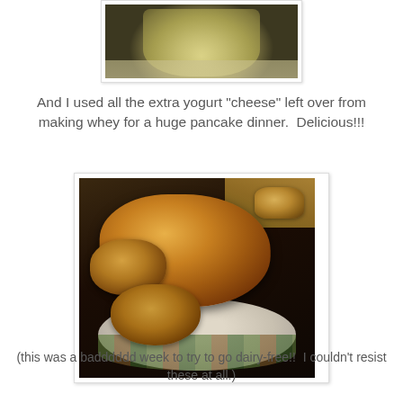[Figure (photo): Partial photo of a glass jar containing yellowish liquid (whey), cropped at top]
And I used all the extra yogurt "cheese" left over from making whey for a huge pancake dinner.  Delicious!!!
[Figure (photo): Photo of a large pile of golden-brown pancakes stacked on a decorative plate with a patterned design, on a wooden table surface]
(this was a badddddd week to try to go dairy-free!!  I couldn't resist these at all.)